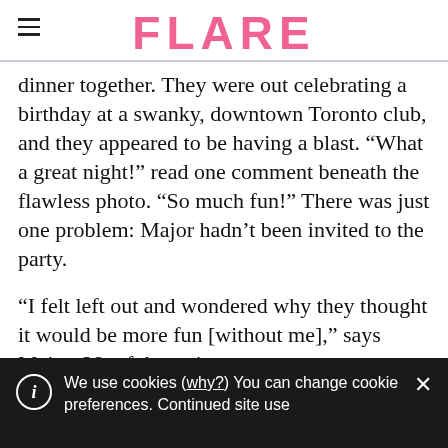FLARE
dinner together. They were out celebrating a birthday at a swanky, downtown Toronto club, and they appeared to be having a blast. “What a great night!” read one comment beneath the flawless photo. “So much fun!” There was just one problem: Major hadn’t been invited to the party.
“I felt left out and wondered why they thought it would be more fun [without me],” says Major, 28, of the swim
We use cookies (why?) You can change cookie preferences. Continued site use